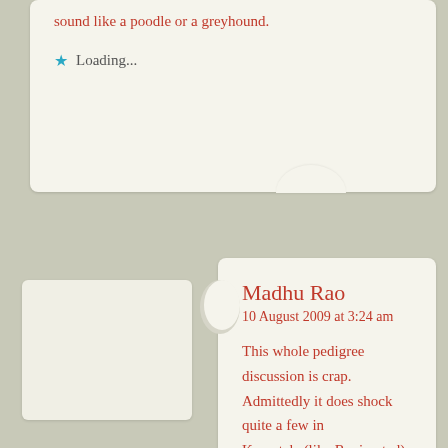sound like a poodle or a greyhound.
Loading...
Madhu Rao
10 August 2009 at 3:24 am
This whole pedigree discussion is crap. Admittedly it does shock quite a few in Karnataka(like Ravi noted) when they compare-contrast BVP vs the Pandit sisters. That apart, it's their life.
They tried to hoodwink the rules, were caught and rightfully stripped